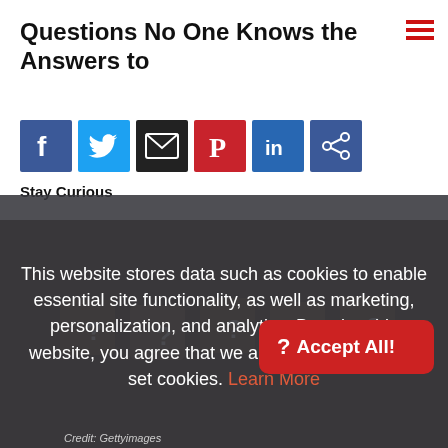Questions No One Knows the Answers to
[Figure (infographic): Row of social media share buttons: Facebook, Twitter, Email, Pinterest, LinkedIn, Share]
Stay Curious
This website stores data such as cookies to enable essential site functionality, as well as marketing, personalization, and analytics. By using this website, you agree that we and our partners may set cookies. Learn More
[Figure (photo): Partial background photo of wooden blocks with question marks, darkened by overlay]
Credit: Gettyimages